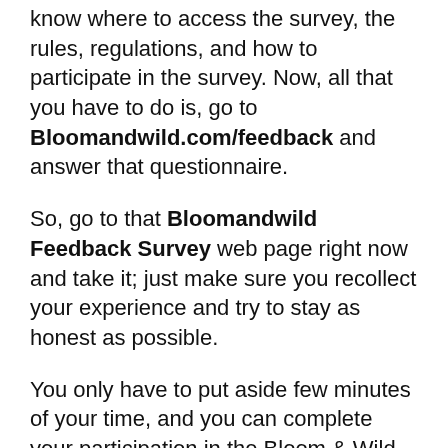know where to access the survey, the rules, regulations, and how to participate in the survey. Now, all that you have to do is, go to Bloomandwild.com/feedback and answer that questionnaire.
So, go to that Bloomandwild Feedback Survey web page right now and take it; just make sure you recollect your experience and try to stay as honest as possible.
You only have to put aside few minutes of your time, and you can complete your participation in the Bloom & Wild Customer experience survey.
All the best !!!